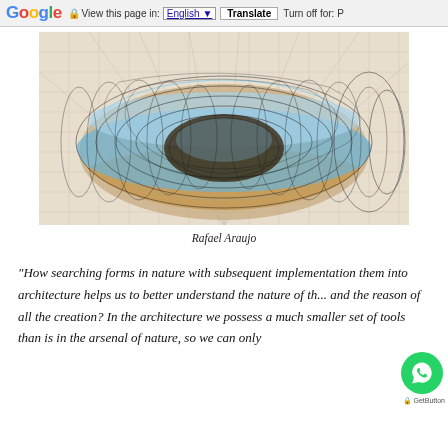Google  View this page in: English [▼]  Translate  Turn off for: P
[Figure (illustration): Detailed geometric illustration of a torus (donut shape) with blue, copper/orange coloring, overlaid with mathematical grid lines, circles, and spiral constructions on a beige drafting paper background. The artwork is by Rafael Araujo.]
Rafael Araujo
"How searching forms in nature with subsequent implementation them into architecture helps us to better understand the nature of th... and the reason of all the creation? In the architecture we possess a much smaller set of tools than is in the arsenal of nature, so we can only